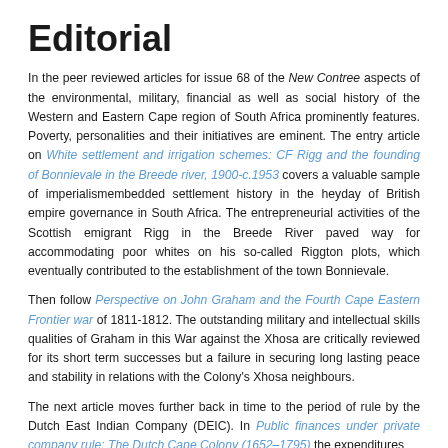Editorial
In the peer reviewed articles for issue 68 of the New Contree aspects of the environmental, military, financial as well as social history of the Western and Eastern Cape region of South Africa prominently features. Poverty, personalities and their initiatives are eminent. The entry article on White settlement and irrigation schemes: CF Rigg and the founding of Bonnievale in the Breede river, 1900-c.1953 covers a valuable sample of imperialismembedded settlement history in the heyday of British empire governance in South Africa. The entrepreneurial activities of the Scottish emigrant Rigg in the Breede River paved way for accommodating poor whites on his so-called Riggton plots, which eventually contributed to the establishment of the town Bonnievale.
Then follow Perspective on John Graham and the Fourth Cape Eastern Frontier war of 1811-1812. The outstanding military and intellectual skills qualities of Graham in this War against the Xhosa are critically reviewed for its short term successes but a failure in securing long lasting peace and stability in relations with the Colony's Xhosa neighbours.
The next article moves further back in time to the period of rule by the Dutch East Indian Company (DEIC). In Public finances under private company rule: The Dutch Cape Colony (1652–1795) the expenditures